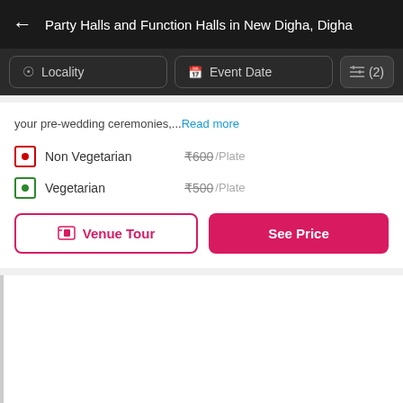Party Halls and Function Halls in New Digha, Digha
Locality | Event Date | (2) filters
your pre-wedding ceremonies,... Read more
Non Vegetarian ₹600/Plate (strikethrough)
Vegetarian ₹500/Plate (strikethrough)
Venue Tour | See Price